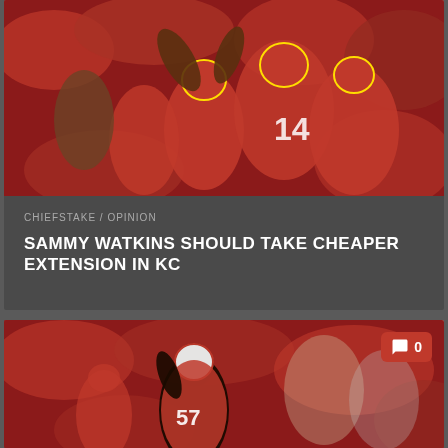[Figure (photo): Kansas City Chiefs football players in red uniforms, number 14 visible, celebrating or in action during a game with crowd in background]
CHIEFSTAKE / OPINION
SAMMY WATKINS SHOULD TAKE CHEAPER EXTENSION IN KC
[Figure (photo): Kansas City Chiefs player in red uniform with number 57, running or celebrating on the field with crowd in background. Comment badge showing 0 in top right corner.]